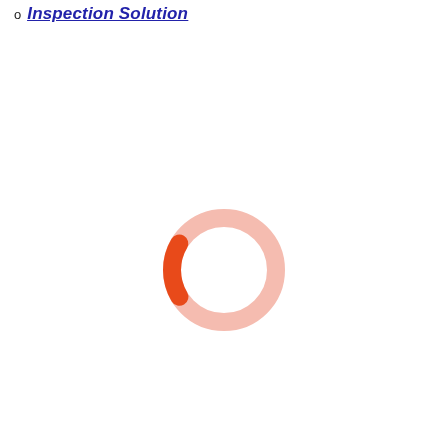Inspection Solution
[Figure (other): A loading spinner ring: a large pale pink/salmon circular ring with a small orange arc segment at the bottom, indicating a loading or processing state.]